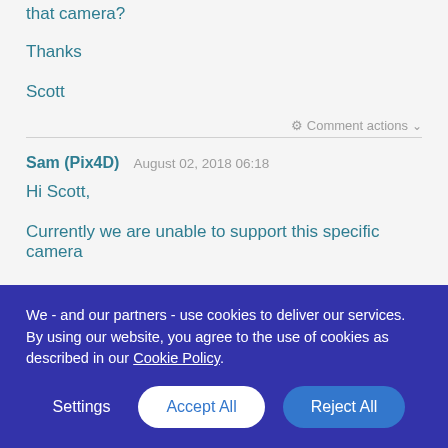that camera?
Thanks
Scott
⚙ Comment actions ∨
Sam (Pix4D)   August 02, 2018 06:18
Hi Scott,
Currently we are unable to support this specific camera
We - and our partners - use cookies to deliver our services. By using our website, you agree to the use of cookies as described in our Cookie Policy
Settings
Accept All
Reject All